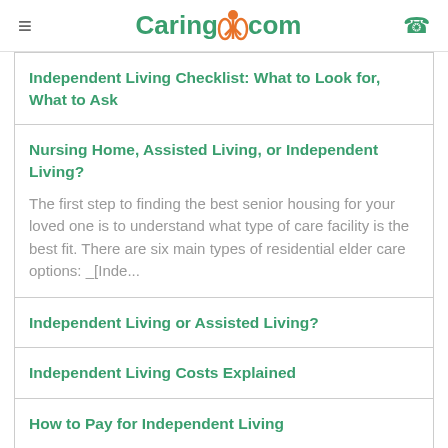Caring.com
Independent Living Checklist: What to Look for, What to Ask
Nursing Home, Assisted Living, or Independent Living?
The first step to finding the best senior housing for your loved one is to understand what type of care facility is the best fit. There are six main types of residential elder care options: _[Inde...
Independent Living or Assisted Living?
Independent Living Costs Explained
How to Pay for Independent Living